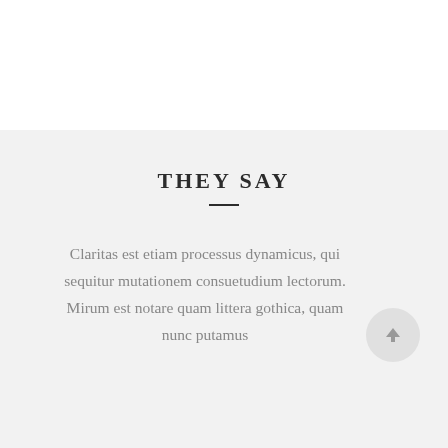THEY SAY
Claritas est etiam processus dynamicus, qui sequitur mutationem consuetudium lectorum. Mirum est notare quam littera gothica, quam nunc putamus